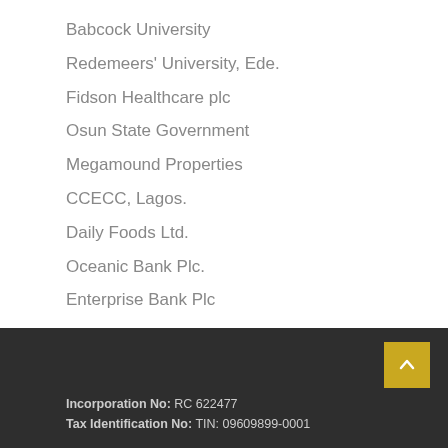Babcock University
Redemeers' University, Ede.
Fidson Healthcare plc
Osun State Government
Megamound Properties
CCECC, Lagos.
Daily Foods Ltd.
Oceanic Bank Plc.
Enterprise Bank Plc
Incorporation No: RC 622477
Tax Identification No: TIN: 09609899-0001